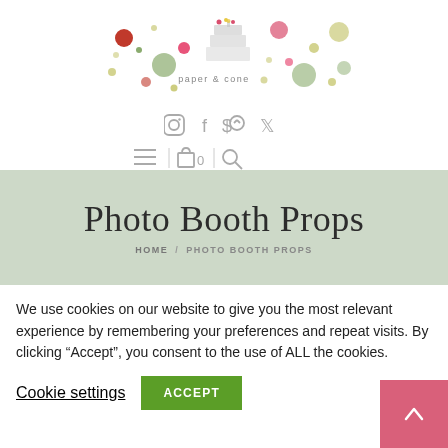[Figure (logo): Paper & Cone bakery/party supplies logo with colorful dots and a cake icon, text reads 'paper & cone']
[Figure (infographic): Social media icons: Instagram, Facebook, Pinterest, Twitter in gray]
[Figure (infographic): Navigation bar with hamburger menu, cart icon with 0, and search icon]
Photo Booth Props
HOME / PHOTO BOOTH PROPS
We use cookies on our website to give you the most relevant experience by remembering your preferences and repeat visits. By clicking “Accept”, you consent to the use of ALL the cookies.
Cookie settings
ACCEPT